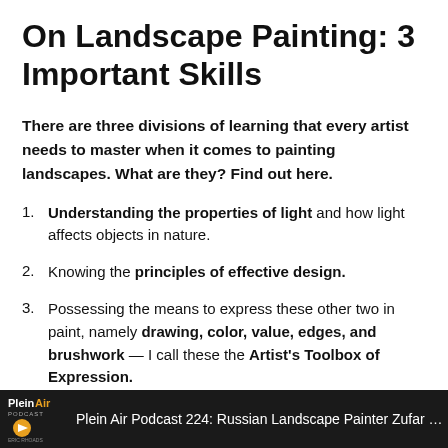On Landscape Painting: 3 Important Skills
There are three divisions of learning that every artist needs to master when it comes to painting landscapes. What are they? Find out here.
Understanding the properties of light and how light affects objects in nature.
Knowing the principles of effective design.
Possessing the means to express these other two in paint, namely drawing, color, value, edges, and brushwork — I call these the Artist's Toolbox of Expression.
Plein Air Podcast 224: Russian Landscape Painter Zufar Bikbo